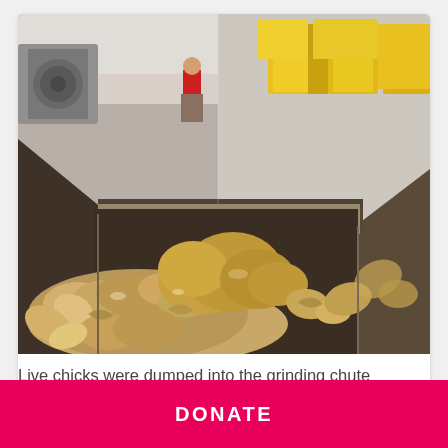[Figure (photo): Industrial facility interior showing a large metal grinding chute/bin filled with broken eggshells and live chicks in the foreground. In the background, a worker in red clothing is visible near large yellow containers in a processing facility.]
Live chicks were dumped into the grinding chute and suffocated under broken shells.
DONATE